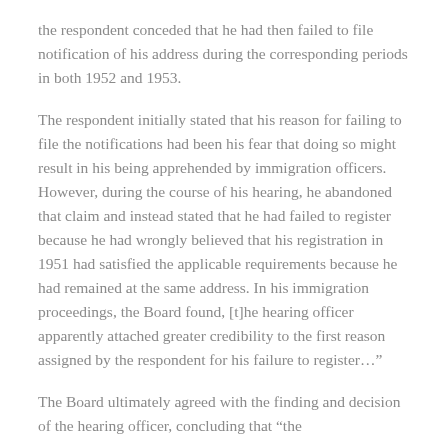the respondent conceded that he had then failed to file notification of his address during the corresponding periods in both 1952 and 1953.
The respondent initially stated that his reason for failing to file the notifications had been his fear that doing so might result in his being apprehended by immigration officers. However, during the course of his hearing, he abandoned that claim and instead stated that he had failed to register because he had wrongly believed that his registration in 1951 had satisfied the applicable requirements because he had remained at the same address. In his immigration proceedings, the Board found, [t]he hearing officer apparently attached greater credibility to the first reason assigned by the respondent for his failure to register…”
The Board ultimately agreed with the finding and decision of the hearing officer, concluding that “the